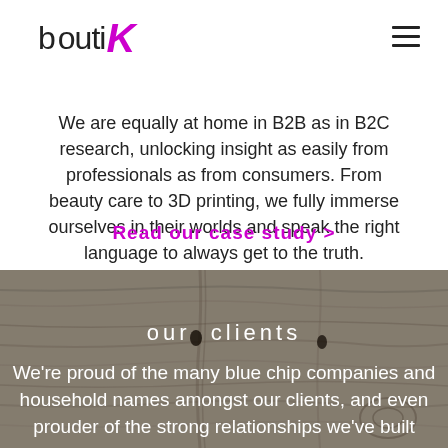[Figure (logo): BoutiK logo with stylized italic magenta K and left bracket element]
We are equally at home in B2B as in B2C research, unlocking insight as easily from professionals as from consumers. From beauty care to 3D printing, we fully immerse ourselves in their worlds and speak the right language to always get to the truth.
Read our case study >
[Figure (photo): Weathered wood texture background with grey tones]
our  clients
We're proud of the many blue chip companies and household names amongst our clients, and even prouder of the strong relationships we've built